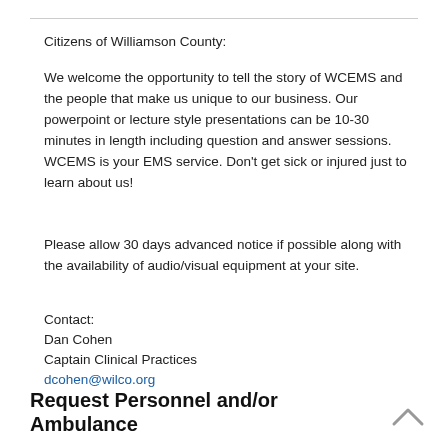Citizens of Williamson County:
We welcome the opportunity to tell the story of WCEMS and the people that make us unique to our business. Our powerpoint or lecture style presentations can be 10-30 minutes in length including question and answer sessions. WCEMS is your EMS service. Don’t get sick or injured just to learn about us!
Please allow 30 days advanced notice if possible along with the availability of audio/visual equipment at your site.
Contact:
Dan Cohen
Captain Clinical Practices
dcohen@wilco.org
Request Personnel and/or Ambulance